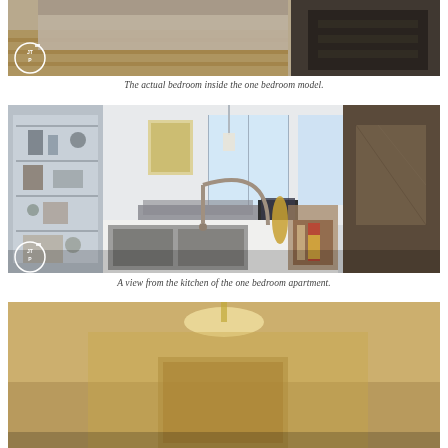[Figure (photo): Top portion of bedroom photo with JTP watermark logo in lower left corner. Shows a bedroom interior with wooden floor and dark furniture.]
The actual bedroom inside the one bedroom model.
[Figure (photo): Wide angle view from kitchen of a one bedroom apartment. A modern kitchen sink and faucet in foreground, open living area in background with shelving, seating, large windows. JTP watermark logo in lower left.]
A view from the kitchen of the one bedroom apartment.
[Figure (photo): Bottom portion of another interior apartment photo, partially visible, warm lighting.]